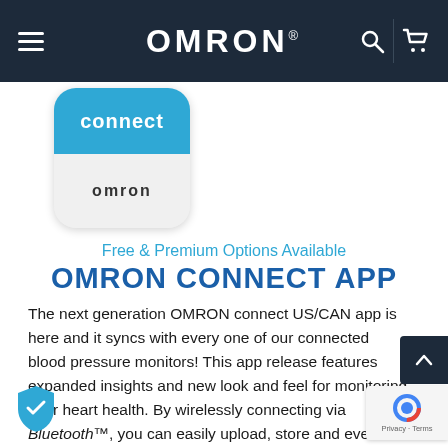OMRON® — navigation bar with hamburger menu, search, and cart icons
[Figure (logo): OMRON connect app icon — blue top with 'connect' text, white bottom with 'omron' text, rounded square shape]
Free & Premium Options Available
OMRON CONNECT APP
The next generation OMRON connect US/CAN app is here and it syncs with every one of our connected blood pressure monitors! This app release features expanded insights and new look and feel for monitoring your heart health. By wirelessly connecting via Bluetooth™, you can easily upload, store and even share your heart history data with family or physicians. And it even keeps track of your weight—so you can achieve your broader health goals.